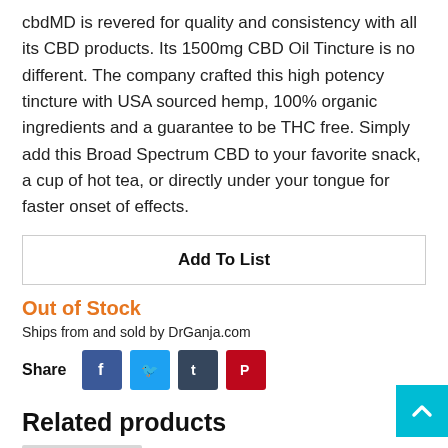cbdMD is revered for quality and consistency with all its CBD products. Its 1500mg CBD Oil Tincture is no different. The company crafted this high potency tincture with USA sourced hemp, 100% organic ingredients and a guarantee to be THC free. Simply add this Broad Spectrum CBD to your favorite snack, a cup of hot tea, or directly under your tongue for faster onset of effects.
Add To List
Out of Stock
Ships from and sold by DrGanja.com
Share
Related products